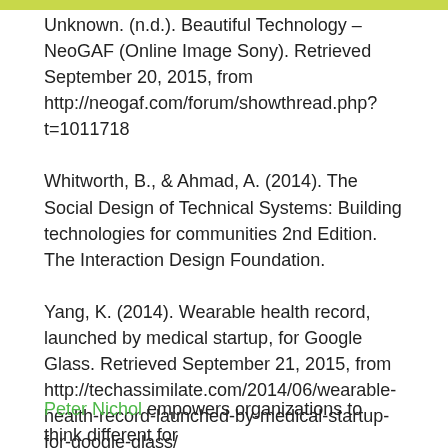Unknown. (n.d.). Beautiful Technology – NeoGAF (Online Image Sony). Retrieved September 20, 2015, from http://neogaf.com/forum/showthread.php?t=1011718
Whitworth, B., & Ahmad, A. (2014). The Social Design of Technical Systems: Building technologies for communities 2nd Edition. The Interaction Design Foundation.
Yang, K. (2014). Wearable health record, launched by medical startup, for Google Glass. Retrieved September 21, 2015, from http://techassimilate.com/2014/06/wearable-health-record-launched-by-medical-startup-for-google-glass/
Peter Nichol empowers organizations to think different for